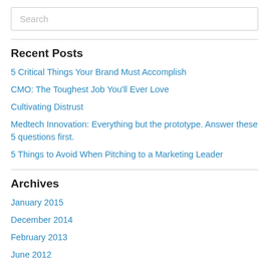Search
Recent Posts
5 Critical Things Your Brand Must Accomplish
CMO: The Toughest Job You'll Ever Love
Cultivating Distrust
Medtech Innovation: Everything but the prototype. Answer these 5 questions first.
5 Things to Avoid When Pitching to a Marketing Leader
Archives
January 2015
December 2014
February 2013
June 2012